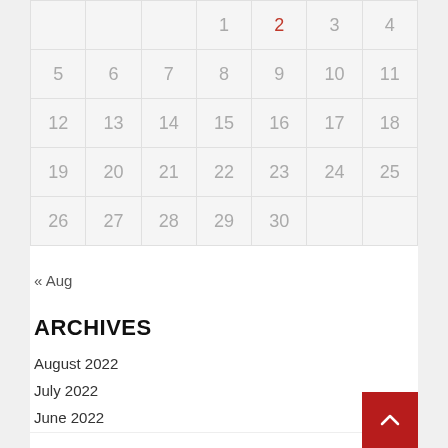|  |  |  | 1 | 2 | 3 | 4 |
| 5 | 6 | 7 | 8 | 9 | 10 | 11 |
| 12 | 13 | 14 | 15 | 16 | 17 | 18 |
| 19 | 20 | 21 | 22 | 23 | 24 | 25 |
| 26 | 27 | 28 | 29 | 30 |  |  |
« Aug
ARCHIVES
August 2022
July 2022
June 2022